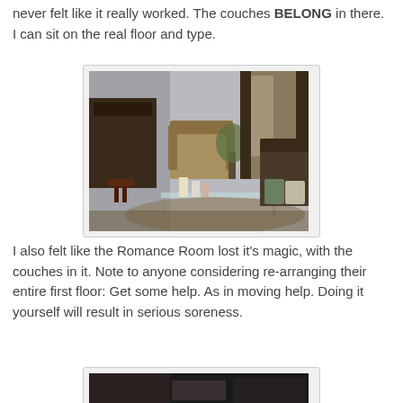never felt like it really worked. The couches BELONG in there. I can sit on the real floor and type.
[Figure (photo): Interior room photo showing couches, a glass coffee table with candles, an organ or piano on the left, a plant, and windows with curtains on the right.]
I also felt like the Romance Room lost it's magic, with the couches in it. Note to anyone considering re-arranging their entire first floor: Get some help. As in moving help. Doing it yourself will result in serious soreness.
[Figure (photo): Partial view of another room photo, dark tones visible at bottom of page.]